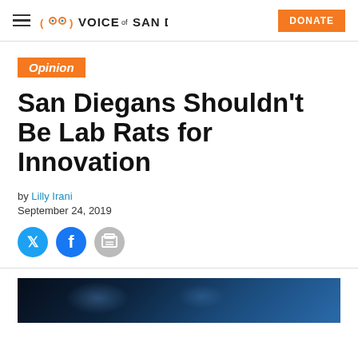VOICE of SAN DIEGO | DONATE
Opinion
San Diegans Shouldn't Be Lab Rats for Innovation
by Lilly Irani
September 24, 2019
[Figure (other): Social sharing icons: Twitter, Facebook, Print]
[Figure (photo): Dark blurred background photo, bottom of page]